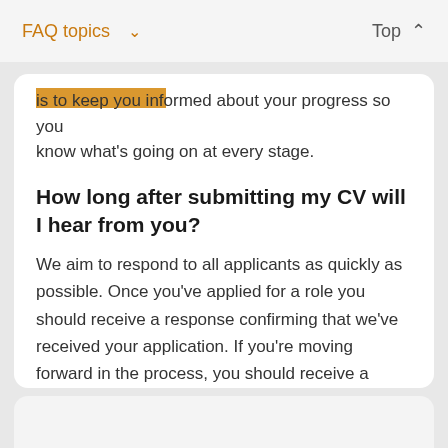FAQ topics ∨   Top ∧
is to keep you informed about your progress so you know what's going on at every stage.
How long after submitting my CV will I hear from you?
We aim to respond to all applicants as quickly as possible. Once you've applied for a role you should receive a response confirming that we've received your application. If you're moving forward in the process, you should receive a response from us within 15 working days.